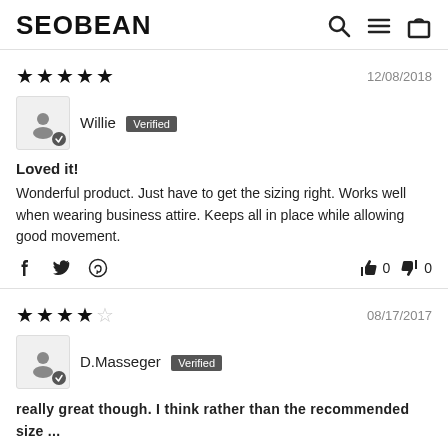SEOBEAN
★★★★★  12/08/2018
Willie  Verified
Loved it!
Wonderful product. Just have to get the sizing right. Works well when wearing business attire. Keeps all in place while allowing good movement.
★★★★☆  08/17/2017
D.Masseger  Verified
really great though. I think rather than the recommended size ...